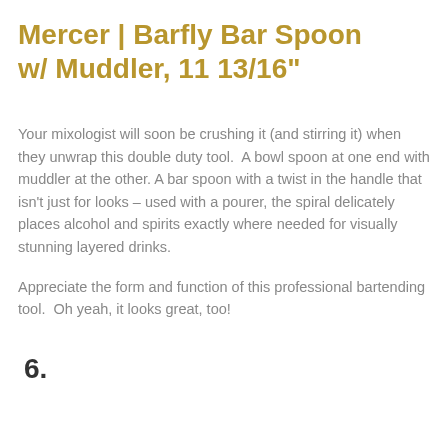Mercer | Barfly Bar Spoon w/ Muddler, 11 13/16"
Your mixologist will soon be crushing it (and stirring it) when they unwrap this double duty tool.  A bowl spoon at one end with muddler at the other. A bar spoon with a twist in the handle that isn't just for looks – used with a pourer, the spiral delicately places alcohol and spirits exactly where needed for visually stunning layered drinks.
Appreciate the form and function of this professional bartending tool.  Oh yeah, it looks great, too!
6.